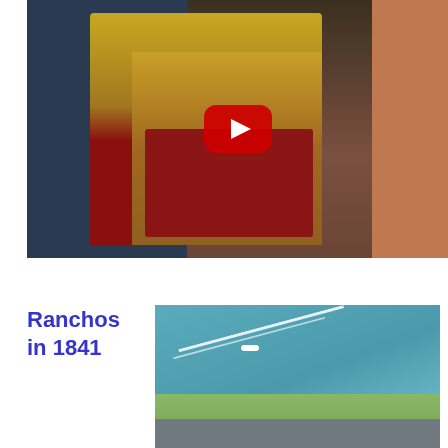[Figure (screenshot): YouTube video thumbnail showing a person in historical costume (yellow and blue coat) with a red bag, against a background of green display panels. A red YouTube play button is centered on the image.]
Ranchos in 1841
[Figure (photo): Aerial photograph of a coastal or waterway area showing a boat wake on blue-green water with a strip of land, road, and urban development visible along the bottom edge.]